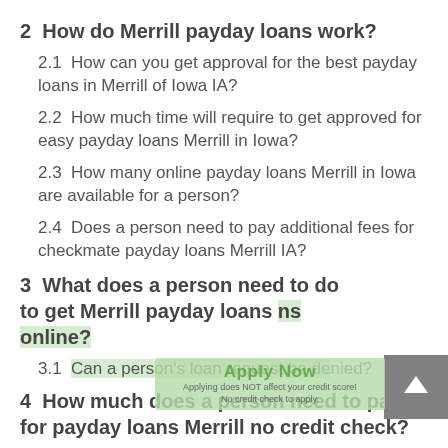2  How do Merrill payday loans work?
2.1  How can you get approval for the best payday loans in Merrill of Iowa IA?
2.2  How much time will require to get approved for easy payday loans Merrill in Iowa?
2.3  How many online payday loans Merrill in Iowa are available for a person?
2.4  Does a person need to pay additional fees for checkmate payday loans Merrill IA?
3  What does a person need to do to get Merrill payday loans online?
3.1  Can a person's loan request be denied?
4  How much does a person need to pay for payday loans Merrill no credit check?